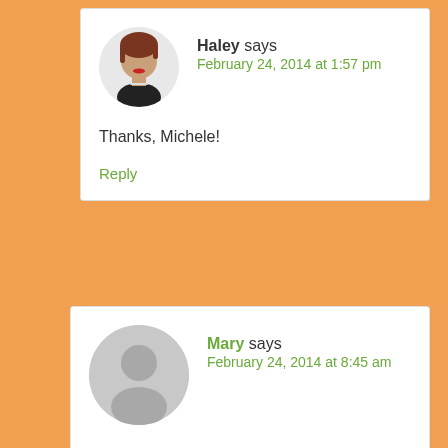[Figure (photo): Avatar photo of Haley, a woman with short reddish-brown hair and red lipstick]
Haley says
February 24, 2014 at 1:57 pm
Thanks, Michele!
Reply
[Figure (photo): Generic gray avatar silhouette for Mary]
Mary says
February 24, 2014 at 8:45 am
Fantastic! I think my favorite is the door sign. You and Daniel are so creative, in an inspiring rather than overwhelming kind of way! Benjamin looks